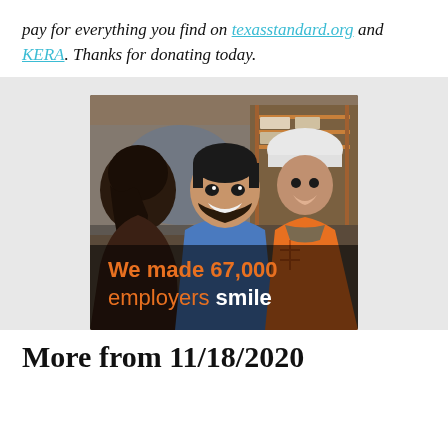pay for everything you find on texasstandard.org and KERA. Thanks for donating today.
[Figure (photo): Advertisement photo showing three people in a warehouse setting — a woman with dark hair viewed from behind, a smiling man in a blue shirt, and a man in an orange safety vest and white hard hat. Overlaid text reads: 'We made 67,000 employers smile' in orange and white bold text.]
More from 11/18/2020